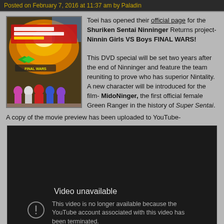Posted on February 7, 2016 at 11:37 am by Paladin
[Figure (photo): Movie poster/image for Shuriken Sentai Ninninger Returns - Ninnin Girls VS Boys FINAL WARS, showing colorful characters and Japanese text]
Toei has opened their official page for the Shuriken Sentai Ninninger Returns project- Ninnin Girls VS Boys FINAL WARS!

This DVD special will be set two years after the end of Ninninger and feature the team reuniting to prove who has superior Nintality. A new character will be introduced for the film- MidoNinger, the first official female Green Ranger in the history of Super Sentai.

A copy of the movie preview has been uploaded to YouTube-
[Figure (screenshot): YouTube video player showing 'Video unavailable' message: 'This video is no longer available because the YouTube account associated with this video has been terminated.']